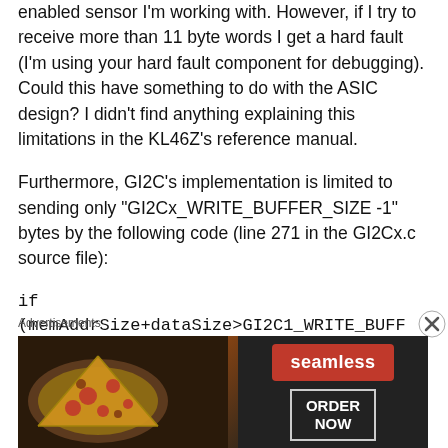enabled sensor I'm working with. However, if I try to receive more than 11 byte words I get a hard fault (I'm using your hard fault component for debugging). Could this have something to do with the ASIC design? I didn't find anything explaining this limitations in the KL46Z's reference manual.
Furthermore, GI2C's implementation is limited to sending only "GI2Cx_WRITE_BUFFER_SIZE -1" bytes by the following code (line 271 in the GI2Cx.c source file):
if
(memAddrSize+dataSize>GI2C1_WRITE_BUFF...
Advertisements
[Figure (photo): Seamless food delivery advertisement banner with pizza image on left, red Seamless button and ORDER NOW button on right]